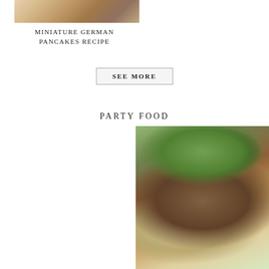[Figure (photo): Miniature German pancakes in cups topped with fresh berries and fruit, viewed from above on a wooden board]
MINIATURE GERMAN PANCAKES RECIPE
SEE MORE
PARTY FOOD
[Figure (photo): Hand holding a slider sandwich dipped into a small bowl of brown dipping sauce, red cloth in background]
[Figure (photo): Mushroom crostini topped with sautéed mushrooms and fresh parsley on toasted bread slices]